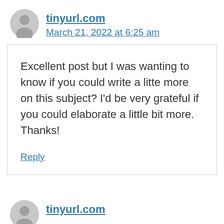tinyurl.com
March 21, 2022 at 6:25 am
Excellent post but I was wanting to know if you could write a litte more on this subject? I'd be very grateful if you could elaborate a little bit more.
Thanks!
Reply
tinyurl.com